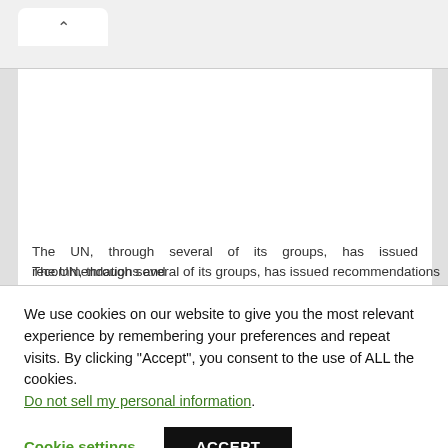[Figure (screenshot): Browser chrome with a back-navigation tab showing an upward caret arrow icon]
The UN, through several of its groups, has issued recommendations and
We use cookies on our website to give you the most relevant experience by remembering your preferences and repeat visits. By clicking "Accept", you consent to the use of ALL the cookies. Do not sell my personal information.
Cookie settings
ACCEPT